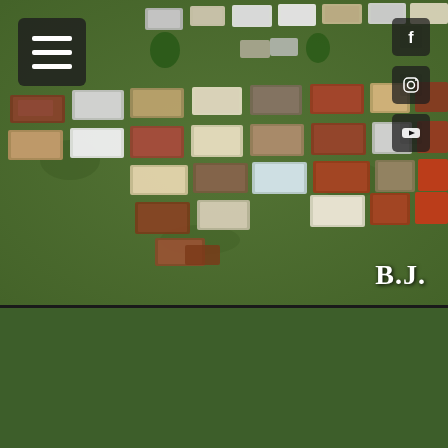[Figure (photo): Aerial drone photograph of a junkyard or salvage yard with numerous old, rusting abandoned cars arranged in rows on a green grass field. Viewed from directly above. Top image of two stacked photos. Has a hamburger menu icon overlay in top-left and social media icons (Facebook, Instagram, YouTube) on the top-right. Watermark 'B.J.' in white text at bottom-right.]
[Figure (photo): Second aerial drone photograph (bottom portion) of the same or similar junkyard/salvage yard. Shows rows of rusted old vehicles including trucks and cars on green grass, viewed from above at a slight angle.]